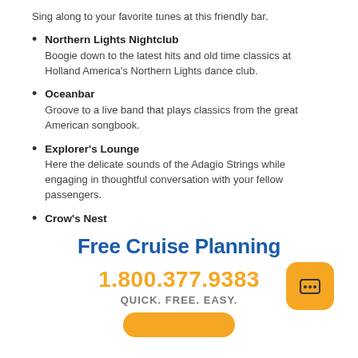Sing along to your favorite tunes at this friendly bar.
Northern Lights Nightclub
Boogie down to the latest hits and old time classics at Holland America's Northern Lights dance club.
Oceanbar
Groove to a live band that plays classics from the great American songbook.
Explorer's Lounge
Here the delicate sounds of the Adagio Strings while engaging in thoughtful conversation with your fellow passengers.
Crow's Nest
With the best views on the ship, the Crow's Nest heats up with a DJ playing crowd pleasers at night.
Free Cruise Planning
1.800.377.9383
QUICK. FREE. EASY.